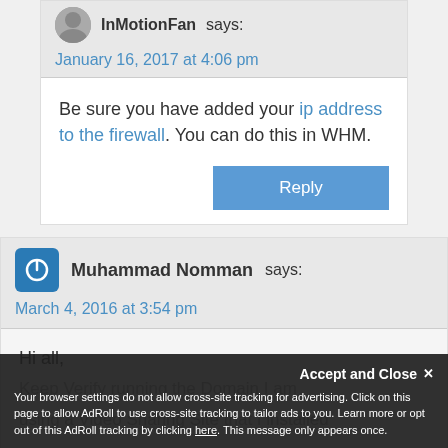InMotionFan says:
January 16, 2017 at 4:06 pm
Be sure you have added your ip address to the firewall. You can do this in WHM.
Reply
Muhammad Nomman says:
March 4, 2016 at 3:54 pm
Hi all,
Keep Verify running the Domain I am using a Video Sharing Site that I installed
Accept and Close
Your browser settings do not allow cross-site tracking for advertising. Click on this page to allow AdRoll to use cross-site tracking to tailor ads to you. Learn more or opt out of this AdRoll tracking by clicking here. This message only appears once.